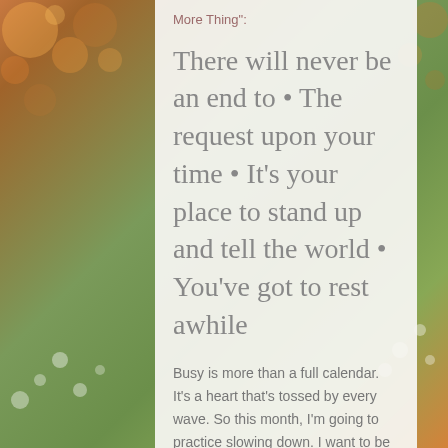More Thing":
There will never be an end to • The request upon your time • It's your place to stand up and tell the world • You've got to rest awhile
Busy is more than a full calendar. It's a heart that's tossed by every wave. So this month, I'm going to practice slowing down. I want to be busy with knowing God, resting in Him, hooking in